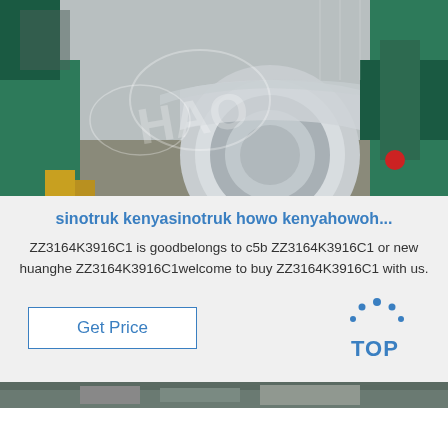[Figure (photo): Industrial machinery photo showing a large metal coil reel on a green/teal manufacturing machine in a factory setting, with a watermark overlay.]
sinotruk kenyasinotruk howo kenyahowoh...
ZZ3164K3916C1 is goodbelongs to c5b ZZ3164K3916C1 or new huanghe ZZ3164K3916C1welcome to buy ZZ3164K3916C1 with us.
[Figure (logo): TOP badge icon with dots arranged in an arc above the text TOP in blue.]
[Figure (photo): Partial view of industrial machinery at the bottom of the page.]